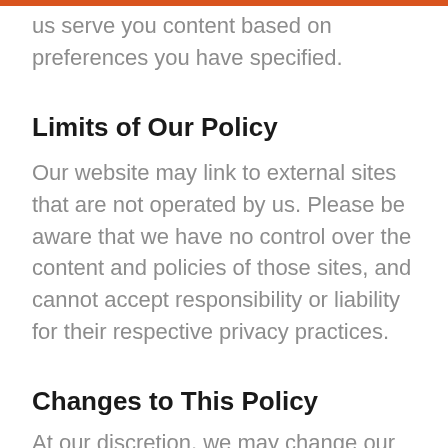us serve you content based on preferences you have specified.
Limits of Our Policy
Our website may link to external sites that are not operated by us. Please be aware that we have no control over the content and policies of those sites, and cannot accept responsibility or liability for their respective privacy practices.
Changes to This Policy
At our discretion, we may change our privacy policy to reflect updates to our